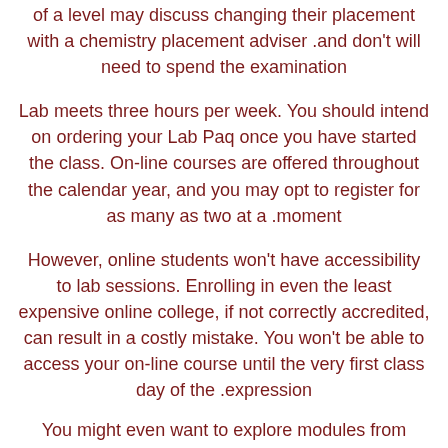of a level may discuss changing their placement with a chemistry placement adviser .and don't will need to spend the examination
Lab meets three hours per week. You should intend on ordering your Lab Paq once you have started the class. On-line courses are offered throughout the calendar year, and you may opt to register for as many as two at a .moment
However, online students won't have accessibility to lab sessions. Enrolling in even the least expensive online college, if not correctly accredited, can result in a costly mistake. You won't be able to access your on-line course until the very first class day of the .expression
You might even want to explore modules from